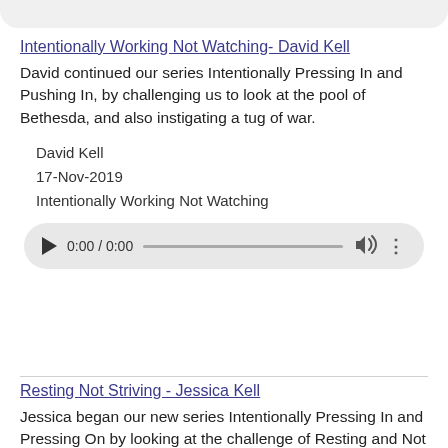Intentionally Working Not Watching- David Kell
David continued our series Intentionally Pressing In and Pushing In, by challenging us to look at the pool of Bethesda, and also instigating a tug of war.
David Kell
17-Nov-2019
Intentionally Working Not Watching
[Figure (other): Audio player widget showing play button, time display 0:00 / 0:00, progress bar, volume icon, and more options icon]
Resting Not Striving - Jessica Kell
Jessica began our new series Intentionally Pressing In and Pressing On by looking at the challenge of Resting and Not Striving